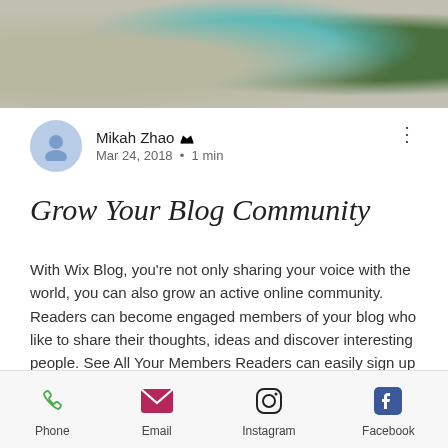[Figure (photo): Hero image showing moss, a teal/turquoise bottle, and green leaves on a light background.]
Mikah Zhao 👑
Mar 24, 2018 · 1 min
Grow Your Blog Community
With Wix Blog, you're not only sharing your voice with the world, you can also grow an active online community. Readers can become engaged members of your blog who like to share their thoughts, ideas and discover interesting people. See All Your Members Readers can easily sign up to become members of your blog and get a personal profile page. Members can follow one another and be followed, they can
Phone   Email   Instagram   Facebook